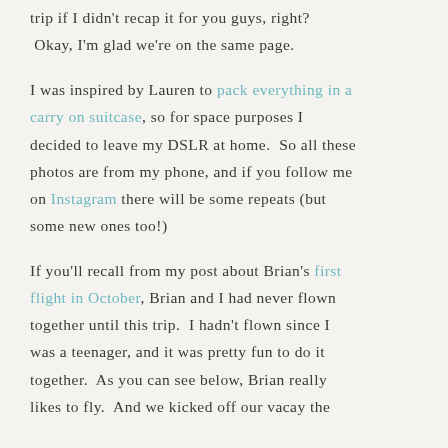trip if I didn't recap it for you guys, right? Okay, I'm glad we're on the same page.
I was inspired by Lauren to pack everything in a carry on suitcase, so for space purposes I decided to leave my DSLR at home. So all these photos are from my phone, and if you follow me on Instagram there will be some repeats (but some new ones too!)
If you'll recall from my post about Brian's first flight in October, Brian and I had never flown together until this trip. I hadn't flown since I was a teenager, and it was pretty fun to do it together. As you can see below, Brian really likes to fly. And we kicked off our vacay the